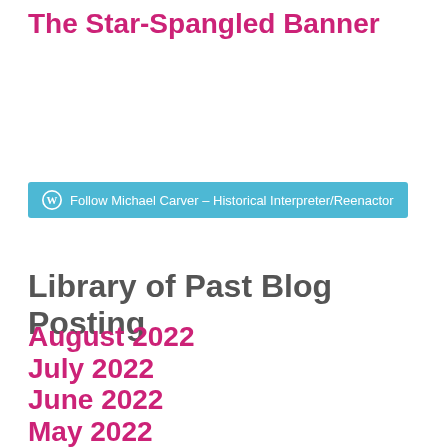The Star-Spangled Banner
[Figure (other): WordPress Follow button: Follow Michael Carver – Historical Interpreter/Reenactor]
Library of Past Blog Posting
August 2022
July 2022
June 2022
May 2022